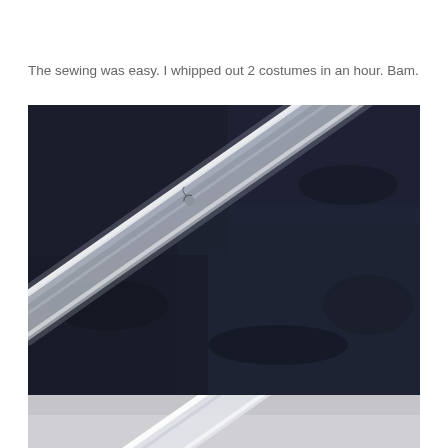The sewing was easy. I whipped out 2 costumes in an hour. Bam.
[Figure (photo): Close-up photo of a translucent/clear plastic or elastic tube/casing lying diagonally across a dark navy/black fabric background. The tube appears to be sewn or attached, with a small stitch or hook visible in the middle. The bottom of the image shows the tube continuing against a lighter grey surface.]